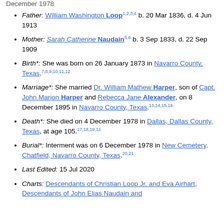December 1978
Father: William Washington Loop b. 20 Mar 1836, d. 4 Jun 1913
Mother: Sarah Catherine Naudain b. 3 Sep 1833, d. 22 Sep 1909
Birth*: She was born on 26 January 1873 in Navarro County, Texas.
Marriage*: She married Dr. William Mathew Harper, son of Capt. John Marion Harper and Rebecca Jane Alexander, on 8 December 1895 in Navarro County, Texas.
Death*: She died on 4 December 1978 in Dallas, Dallas County, Texas, at age 105.
Burial*: Interment was on 6 December 1978 in New Cemetery, Chatfield, Navarro County, Texas.
Last Edited: 15 Jul 2020
Charts: Descendants of Christian Loop Jr. and Eva Airhart, Descendants of John Elias Naudain and